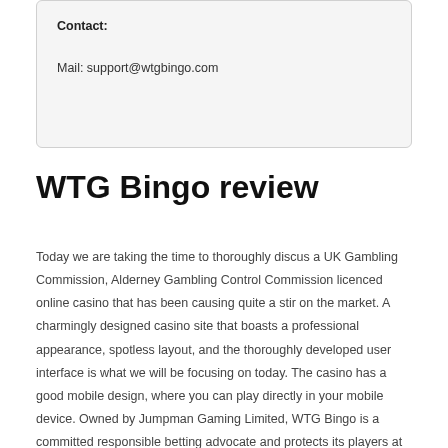Contact:

Mail: support@wtgbingo.com
WTG Bingo review
Today we are taking the time to thoroughly discus a UK Gambling Commission, Alderney Gambling Control Commission licenced online casino that has been causing quite a stir on the market. A charmingly designed casino site that boasts a professional appearance, spotless layout, and the thoroughly developed user interface is what we will be focusing on today. The casino has a good mobile design, where you can play directly in your mobile device. Owned by Jumpman Gaming Limited, WTG Bingo is a committed responsible betting advocate and protects its players at all